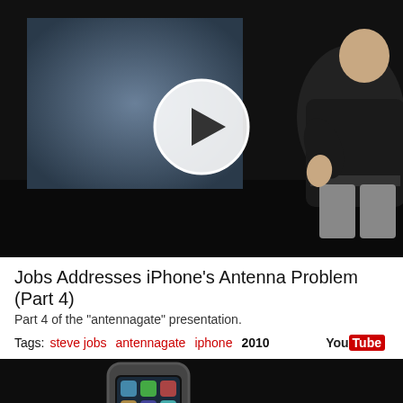[Figure (screenshot): Video thumbnail showing Steve Jobs on stage at a presentation, with a large white circular play button overlay. Dark stage background with blue screen behind him.]
Jobs Addresses iPhone's Antenna Problem (Part 4)
Part 4 of the "antennagate" presentation.
Tags: steve jobs  antennagate  iphone  2010
[Figure (screenshot): Video thumbnail showing an iPhone 4 with a bumper case and the text 'Free case for every iPhone 4', with a partial white circular play button overlay.]